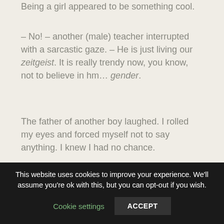Being a girl appeared to be something cool.
– No! – another (male) teacher interrupted with a sarcastic gaze. – He is just living our zeitgeist. It is really trendy now, you know, not to believe in hm… gender.
The father of another boy laughed. I rolled my eyes and forced myself not to say anything. I knew I had no chance.
Yet I have to ask myself all the time: are we
This website uses cookies to improve your experience. We'll assume you're ok with this, but you can opt-out if you wish.
Cookie settings
ACCEPT